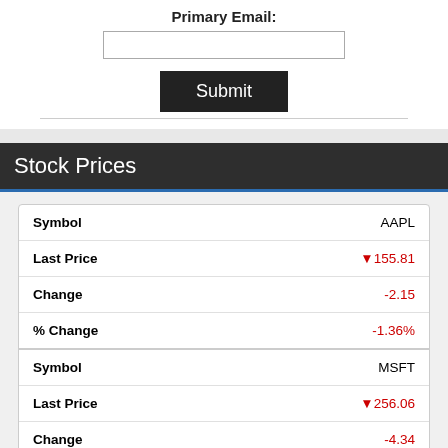Primary Email:
Submit
Stock Prices
| Field | AAPL |
| --- | --- |
| Symbol | AAPL |
| Last Price | ↓155.81 |
| Change | -2.15 |
| % Change | -1.36% |
| Field | MSFT |
| --- | --- |
| Symbol | MSFT |
| Last Price | ↓256.06 |
| Change | -4.34 |